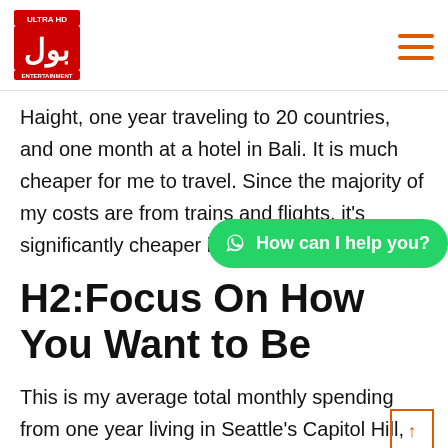BOL Ultra HD Entertainment
Haight, one year traveling to 20 countries, and one month at a hotel in Bali. It is much cheaper for me to travel. Since the majority of my costs are from trains and flights, it's significantly cheaper if I stay in one
[Figure (other): WhatsApp chat button: 'How can I help you?']
H2:Focus On How You Want to Be
This is my average total monthly spending from one year living in Seattle's Capitol Hill,